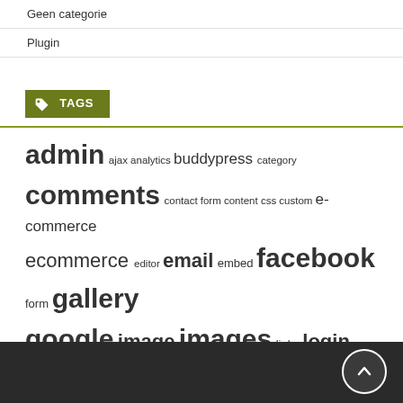Geen categorie
Plugin
TAGS
admin ajax analytics buddypress category comments contact form content css custom e-commerce ecommerce editor email embed facebook form gallery google image images links login media menu page pages payment post posts responsive rss search security seo shortcode sidebar slider social spam twitter video widget widgets woocommerce